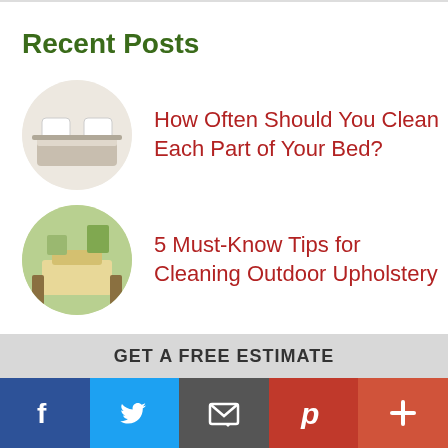Recent Posts
How Often Should You Clean Each Part of Your Bed?
5 Must-Know Tips for Cleaning Outdoor Upholstery
Contact Us
GET A FREE ESTIMATE
Social share bar: Facebook, Twitter, Email, Pinterest, More